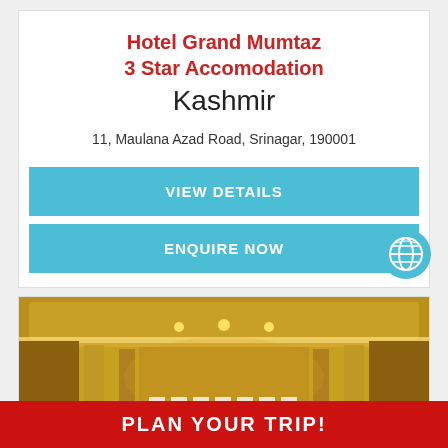Hotel Grand Mumtaz
3 Star Accomodation
Kashmir
11, Maulana Azad Road, Srinagar, 190001
VIEW DETAILS
ENQUIRE NOW
[Figure (photo): Interior of a hotel banquet hall with ornate golden ceiling, chandeliers, pillars, and white-draped chairs arranged in rows.]
PLAN YOUR TRIP!